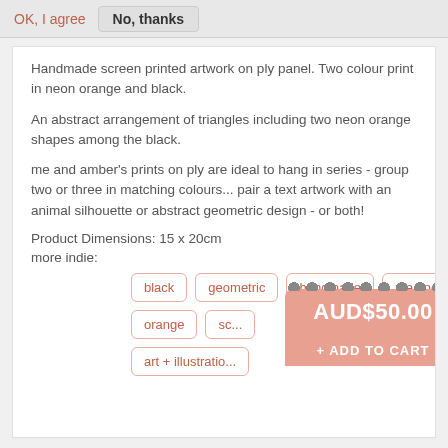OK, I agree   No, thanks
Handmade screen printed artwork on ply panel. Two colour print in neon orange and black.
An abstract arrangement of triangles including two neon orange shapes among the black.
me and amber's prints on ply are ideal to hang in series - group two or three in matching colours... pair a text artwork with an animal silhouette or abstract geometric design - or both!
Product Dimensions: 15 x 20cm
more indie:
black
geometric
handmade
me and amber
orange
sc...
art + illustratio...
[Figure (screenshot): AUD$50.00 price badge with scalloped top edge and Add to Cart button below, in salmon/coral color]